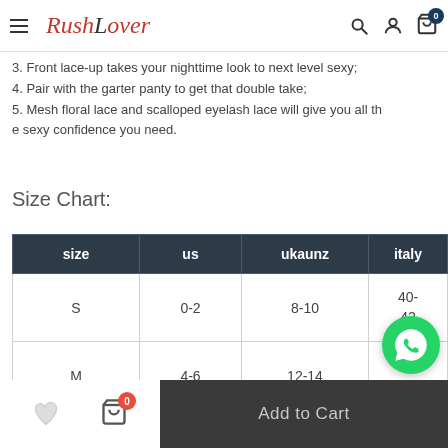RushLover
3. Front lace-up takes your nighttime look to next level sexy;
4. Pair with the garter panty to get that double take;
5. Mesh floral lace and scalloped eyelash lace will give you all the sexy confidence you need.
Size Chart:
| size | us | ukaunz | italy |
| --- | --- | --- | --- |
| S | 0-2 | 8-10 | 40-
42 |
| M | 4-6 | 12-14 | 44-
46 |
| L | 8- | 14-16 | 46- |
Add to Cart